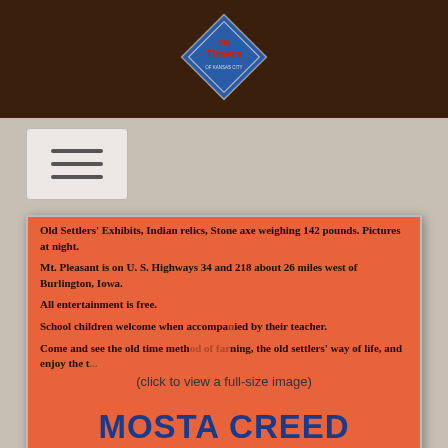[Figure (logo): Old Timers logo diamond shape with red text on blue diamond background in dark brown header bar]
[Figure (other): Hamburger menu toggle button with three horizontal lines]
Old Settlers' Exhibits, Indian relics, Stone axe weighing 142 pounds. Pictures at night.
Mt. Pleasant is on U. S. Highways 34 and 218 about 26 miles west of Burlington, Iowa.
All entertainment is free.
School children welcome when accompanied by their teacher.
Come and see the old time meth[od of far]ming, the old settlers' way of life, and enjoy the [t...]
(click to view a full-size image)
MOSTA CREED